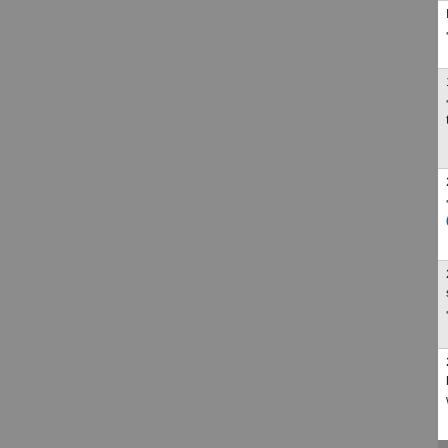David <1732> thy father <1>, saying <559>(8800), <3478>.
19. But if ye turn away <7725>(8799), and forsak <5414>(8804) before <6440> you, and shall go <19 them;
20. Then will I pluck them up by the roots <542 <1004>, which I have sanctified <6942>(8689) for m (8799) it to be a proverb <4912> and a byword <8
21. And this house <1004>, which is high <5945> so that he shall say <559>(8804), Why hath the L <1004>?
22. And it shall be answered <559>(8804), Beca brought them forth <3318>(8689) out of the land < worshipped <7812>(8691) them, and served <5647
Reading 2: Ezekiel 42
To view any notes specific to the verses bel Comments made directly on this verse C Please note that comments referring to a range
1. Then he brought me forth <3318>(8686) into t <935>(8686) me into the chamber <3957> that was toward the north <6828>.
2. Before <6440> the length <753> of an hundre fifty <2572> cubits <520>.